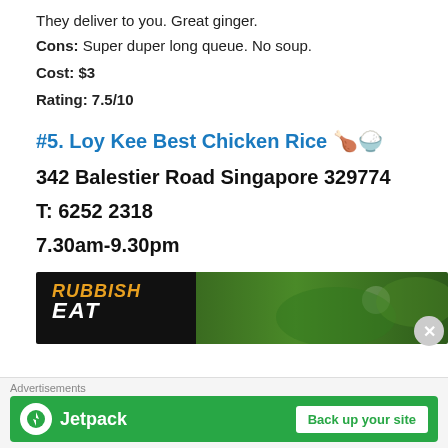They deliver to you. Great ginger.
Cons: Super duper long queue. No soup.
Cost: $3
Rating: 7.5/10
#5. Loy Kee Best Chicken Rice 🍗🍚
342 Balestier Road Singapore 329774
T: 6252 2318
7.30am-9.30pm
[Figure (photo): Rubbish Eat food blog banner with dark background and green food image]
Advertisements
[Figure (other): Jetpack advertisement banner with green background and 'Back up your site' button]